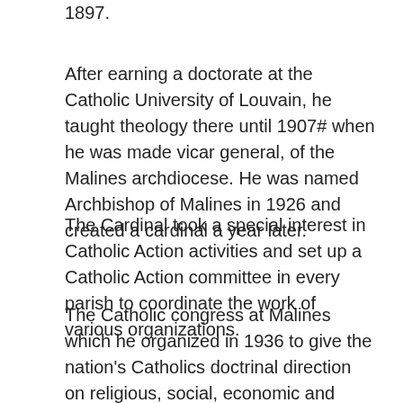1897.
After earning a doctorate at the Catholic University of Louvain, he taught theology there until 1907# when he was made vicar general, of the Malines archdiocese. He was named Archbishop of Malines in 1926 and created a cardinal a year later.
The Cardinal took a special interest in Catholic Action activities and set up a Catholic Action committee in every parish to coordinate the work of various organizations.
The Catholic congress at Malines which he organized in 1936 to give the nation's Catholics doctrinal direction on religious, social, economic and cultural matters, is a milestone in the history of the Churoh In Belgium.